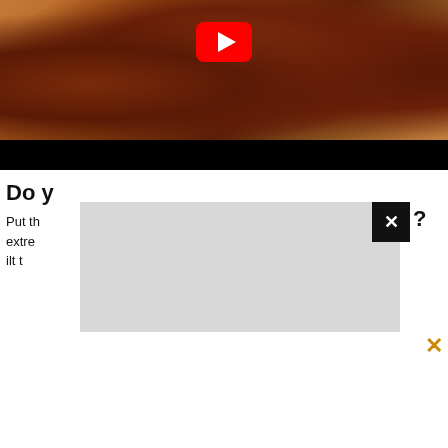[Figure (screenshot): YouTube video thumbnail showing grilled steak pieces on a wooden cutting board, with a red YouTube play button overlay. A black progress bar is at the bottom of the video frame.]
Do y...?
Put th... il it is extrem... r canc... ilt t... ing t...
[Figure (screenshot): Gray overlay/popup covering the center of the page, with a black close button (X) in the top-right corner of the popup, and an orange/gold X close button at the far bottom right.]